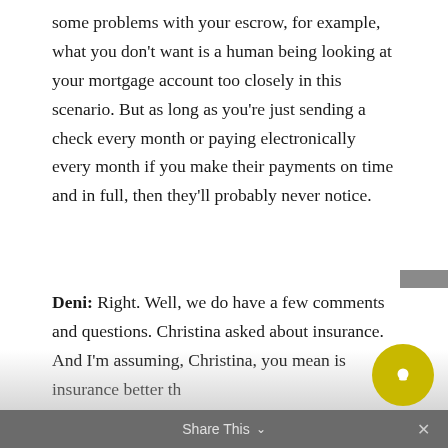some problems with your escrow, for example, what you don't want is a human being looking at your mortgage account too closely in this scenario. But as long as you're just sending a check every month or paying electronically every month if you make their payments on time and in full, then they'll probably never notice.
Deni: Right. Well, we do have a few comments and questions. Christina asked about insurance. And I'm assuming, Christina, you mean is insurance better th... an LLC?